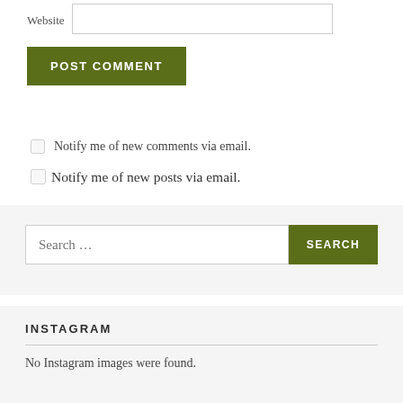Website
POST COMMENT
Notify me of new comments via email.
Notify me of new posts via email.
Search …
SEARCH
INSTAGRAM
No Instagram images were found.